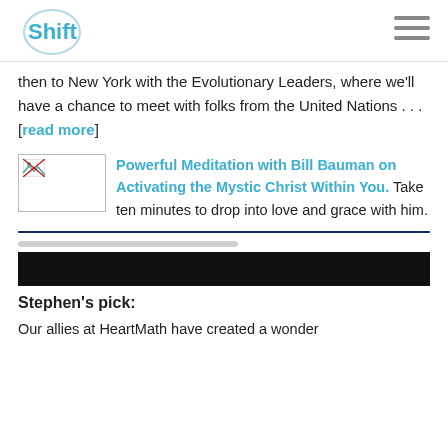Shift
then to New York with the Evolutionary Leaders, where we'll have a chance to meet with folks from the United Nations . . . [read more]
[Figure (photo): Thumbnail image placeholder with broken image icon]
Powerful Meditation with Bill Bauman on Activating the Mystic Christ Within You. Take ten minutes to drop into love and grace with him.
[Figure (other): Black video/media bar]
Stephen's pick:
Our allies at HeartMath have created a wonder